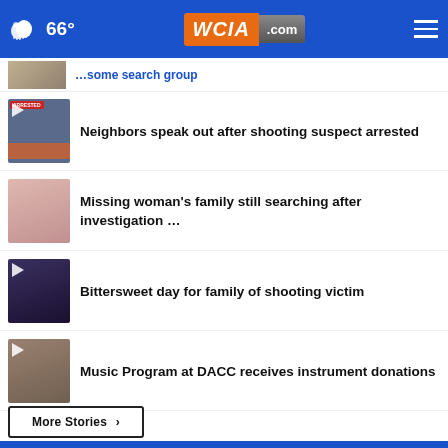WCIA.com — 66° weather header
…some search group
Neighbors speak out after shooting suspect arrested
Missing woman's family still searching after investigation …
Bittersweet day for family of shooting victim
Music Program at DACC receives instrument donations
More Stories ›